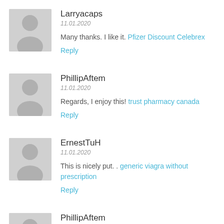Larryacaps
11.01.2020
Many thanks. I like it. Pfizer Discount Celebrex
Reply
PhillipAftem
11.01.2020
Regards, I enjoy this! trust pharmacy canada
Reply
ErnestTuH
11.01.2020
This is nicely put. . generic viagra without prescription
Reply
PhillipAftem
11.01.2020
Thanks, Useful information. northwest pharmaceuticals canada